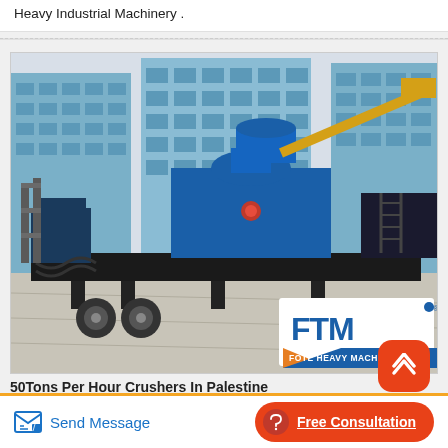Heavy Industrial Machinery .
[Figure (photo): Industrial mobile stone crusher machine mounted on a flatbed trailer/platform, blue and black machinery with conveyor arm, parked in an industrial yard with modern glass buildings in background. FTM (Fote Heavy Machinery) logo visible in lower right corner of photo.]
50Tons Per Hour Crushers In Palestine
Send Message
Free Consultation